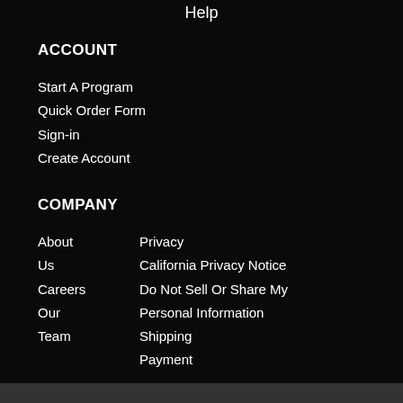Help
ACCOUNT
Start A Program
Quick Order Form
Sign-in
Create Account
COMPANY
About Us
Careers
Our Team
Privacy
California Privacy Notice
Do Not Sell Or Share My Personal Information
Shipping
Payment